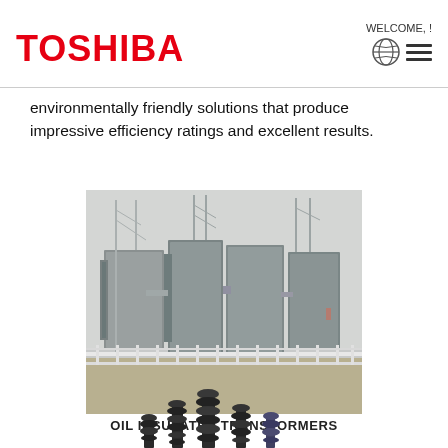TOSHIBA | WELCOME, !
environmentally friendly solutions that produce impressive efficiency ratings and excellent results.
[Figure (photo): Large oil insulated power transformers installed outdoors at an electrical substation, with metal lattice frames and cooling structures visible.]
OIL INSULATED TRANSFORMERS
[Figure (photo): Several electrical insulator components of varying sizes shown at the bottom of the page, partially cropped.]